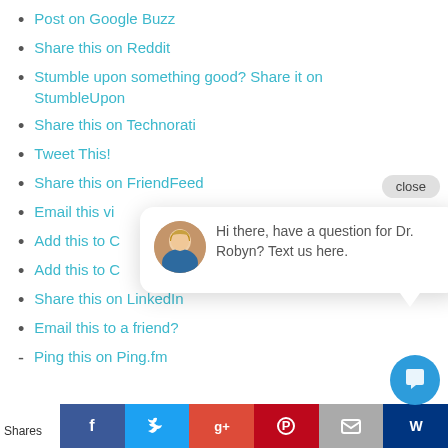Post on Google Buzz
Share this on Reddit
Stumble upon something good? Share it on StumbleUpon
Share this on Technorati
Tweet This!
Share this on FriendFeed
Email this vi…
Add this to C…
Add this to C…
Share this on LinkedIn
Email this to a friend?
Ping this on Ping.fm…
[Figure (screenshot): Chat popup overlay with close button, avatar photo of a blonde woman, and message: 'Hi there, have a question for Dr. Robyn? Text us here.' with blue chat icon button below]
Shares
[Figure (infographic): Social share bar at bottom with Facebook, Twitter, Google+, Pinterest, Email, and bookmark icons]